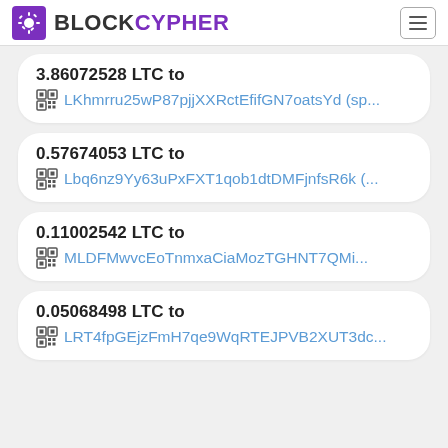BLOCKCYPHER
3.86072528 LTC to LKhmrru25wP87pjjXXRctEfifGN7oatsYd (sp...
0.57674053 LTC to Lbq6nz9Yy63uPxFXT1qob1dtDMFjnfsR6k (...
0.11002542 LTC to MLDFMwvcEoTnmxaCiaMozTGHNT7QMi...
0.05068498 LTC to LRT4fpGEjzFmH7qe9WqRTEJPVB2XUT3dc...